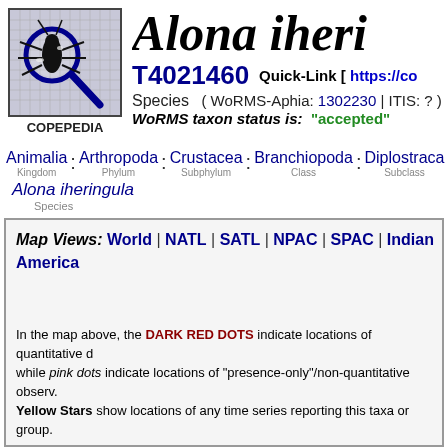[Figure (logo): Copepedia logo: magnifying glass over an insect silhouette on a grid background]
Alona iheri
T4021460   Quick-Link [ https://co
Species   ( WoRMS-Aphia: 1302230 | ITIS: ? )
WoRMS taxon status is:  "accepted"
Animalia : Arthropoda : Crustacea : Branchiopoda : Diplostraca : Cladocero
Kingdom  Phylum  Subphylum  Class  Subclass  Infracla
Alona iheringula
Species
Map Views: World | NATL | SATL | NPAC | SPAC | Indian Ocean | America
In the map above, the DARK RED DOTS indicate locations of quantitative d while pink dots indicate locations of "presence-only"/non-quantitative observ. Yellow Stars show locations of any time series reporting this taxa or group.